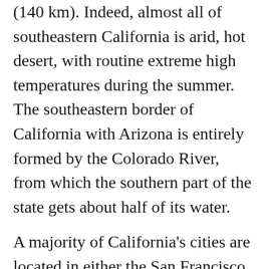(140 km). Indeed, almost all of southeastern California is arid, hot desert, with routine extreme high temperatures during the summer. The southeastern border of California with Arizona is entirely formed by the Colorado River, from which the southern part of the state gets about half of its water.
A majority of California's cities are located in either the San Francisco Bay Area or the Sacramento metropolitan area in Northern California; or the Los Angeles area, the Inland Empire, or the San Diego metropolitan area in Southern California. The Los Angeles Area, the Bay Area, and the San Diego metropolitan area are among several major metropolitan areas